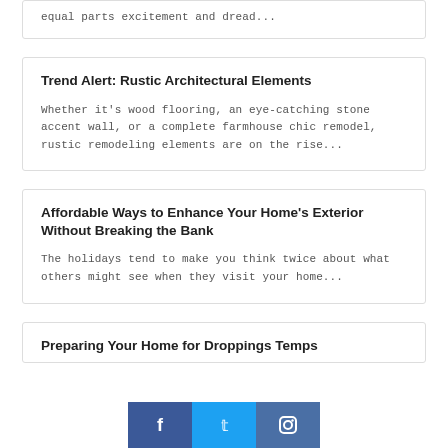equal parts excitement and dread...
Trend Alert: Rustic Architectural Elements
Whether it's wood flooring, an eye-catching stone accent wall, or a complete farmhouse chic remodel, rustic remodeling elements are on the rise...
Affordable Ways to Enhance Your Home's Exterior Without Breaking the Bank
The holidays tend to make you think twice about what others might see when they visit your home...
Preparing Your Home for Droppings Temps